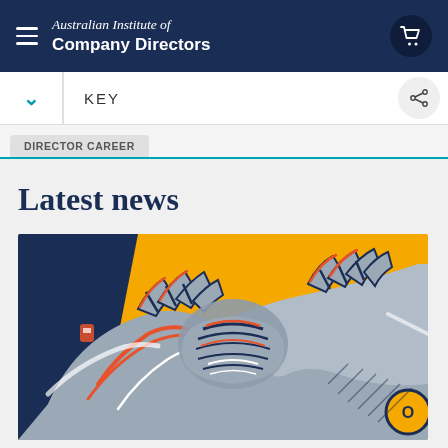Australian Institute of Company Directors
KEY
DIRECTOR CAREER
Latest news
[Figure (illustration): Stylized illustration of a handshake with bold navy, orange, and grey tones on a yellow background]